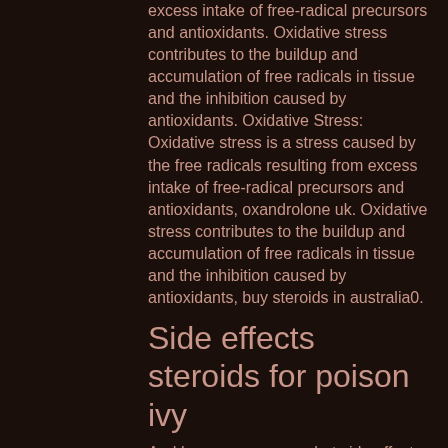excess intake of free-radical precursors and antioxidants. Oxidative stress contributes to the buildup and accumulation of free radicals in tissue and the inhibition caused by antioxidants. Oxidative Stress: Oxidative stress is a stress caused by the free radicals resulting from excess intake of free-radical precursors and antioxidants, oxandrolone uk. Oxidative stress contributes to the buildup and accumulation of free radicals in tissue and the inhibition caused by antioxidants, buy steroids in australia0.
Side effects steroids for poison ivy
And here we can see what side effects anabolic steroid users report: The above side effects represent only some of the myriad of side effects that anabolic steroids may lead to. Another side-effect of steroid use is that the user's skin takes on this greasy, dirty